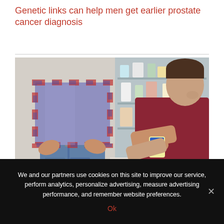Genetic links can help men get earlier prostate cancer diagnosis
[Figure (photo): Two men in a bathroom setting. One man in a plaid shirt has his hands on his lower back. Another man in a dark red t-shirt is looking at a medication bottle in front of an open medicine cabinet.]
We and our partners use cookies on this site to improve our service, perform analytics, personalize advertising, measure advertising performance, and remember website preferences.
Ok